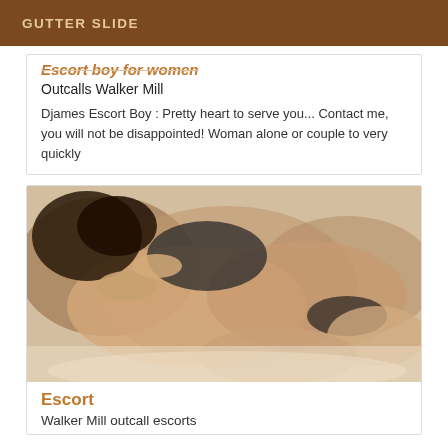GUTTER SLIDE
Escort boy for women
Outcalls Walker Mill
Djames Escort Boy : Pretty heart to serve you... Contact me, you will not be disappointed! Woman alone or couple to very quickly
[Figure (photo): Photo of two people in an intimate pose on a bed]
Escort
Walker Mill outcall escorts